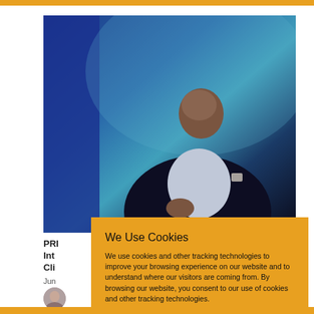[Figure (photo): A man in a dark navy blazer and light blue shirt speaking at an event, with blue stage curtains/backdrop behind him.]
PRI
Int
Cli
Jun
[Figure (photo): Small circular avatar photo of a woman.]
We Use Cookies
We use cookies and other tracking technologies to improve your browsing experience on our website and to understand where our visitors are coming from. By browsing our website, you consent to our use of cookies and other tracking technologies.
ACCEPT
REJECT